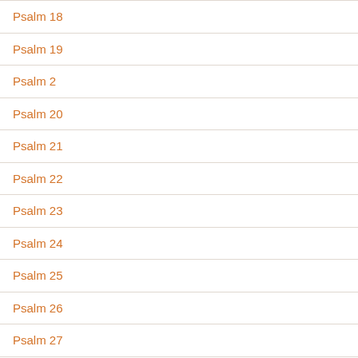Psalm 18
Psalm 19
Psalm 2
Psalm 20
Psalm 21
Psalm 22
Psalm 23
Psalm 24
Psalm 25
Psalm 26
Psalm 27
Psalm 28